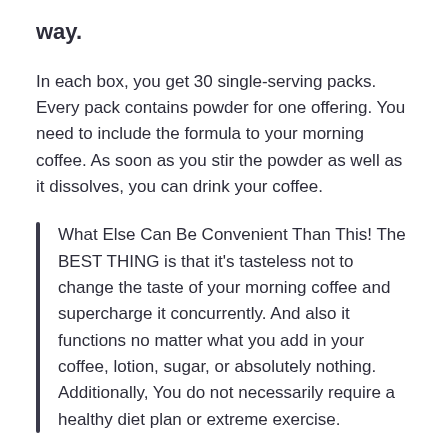way.
In each box, you get 30 single-serving packs. Every pack contains powder for one offering. You need to include the formula to your morning coffee. As soon as you stir the powder as well as it dissolves, you can drink your coffee.
What Else Can Be Convenient Than This! The BEST THING is that it’s tasteless not to change the taste of your morning coffee and supercharge it concurrently. And also it functions no matter what you add in your coffee, lotion, sugar, or absolutely nothing. Additionally, You do not necessarily require a healthy diet plan or extreme exercise.